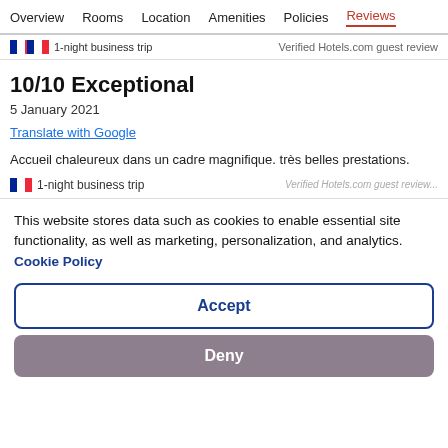Overview  Rooms  Location  Amenities  Policies  Reviews
1-night business trip
Verified Hotels.com guest review
10/10 Exceptional
5 January 2021
Translate with Google
Accueil chaleureux dans un cadre magnifique. très belles prestations.
1-night business trip
Verified Hotels.com guest review
This website stores data such as cookies to enable essential site functionality, as well as marketing, personalization, and analytics. Cookie Policy
Accept
Deny